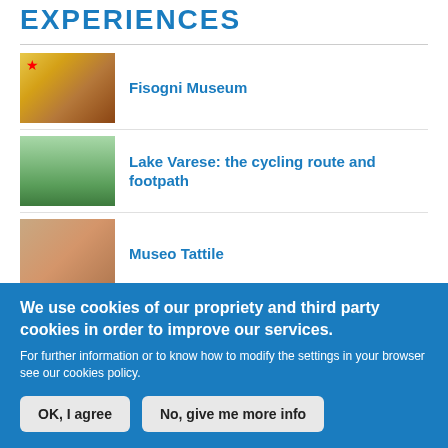EXPERIENCES
Fisogni Museum
Lake Varese: the cycling route and footpath
Museo Tattile
We use cookies of our propriety and third party cookies in order to improve our services.
For further information or to know how to modify the settings in your browser see our cookies policy.
OK, I agree
No, give me more info